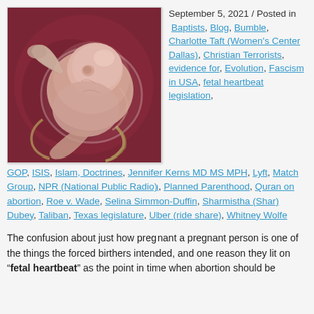[Figure (illustration): 3D medical illustration of a human embryo/fetus at early developmental stage, shown against a dark red/maroon background, with umbilical cord visible]
September 5, 2021 / Posted in Baptists, Blog, Bumble, Charlotte Taft (Women's Center Dallas), Christian Terrorists, evidence for, Evolution, Fascism in USA, fetal heartbeat legislation, GOP, ISIS, Islam, Doctrines, Jennifer Kerns MD MS MPH, Lyft, Match Group, NPR (National Public Radio), Planned Parenthood, Quran on abortion, Roe v. Wade, Selina Simmon-Duffin, Sharmistha (Shar) Dubey, Taliban, Texas legislature, Uber (ride share), Whitney Wolfe
The confusion about just how pregnant a pregnant person is one of the things the forced birthers intended, and one reason they lit on "fetal heartbeat" as the point in time when abortion should be